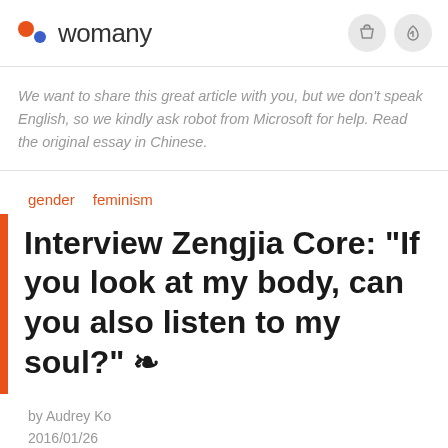womany
We want to share this great article with you, but we don't speak English, so we kindly ask robot from Microsoft for help. Read the original essay in Chinese.
gender
feminism
Interview Zengjia Core: "If you look at my body, can you also listen to my soul?" ❧
by Audrey Ko
2016/01/26